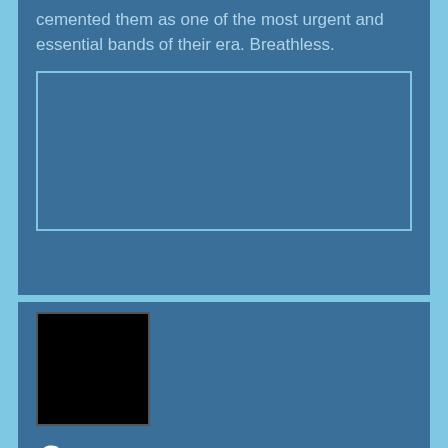cemented them as one of the most urgent and essential bands of their era. Breathless.
[Figure (other): Blue rectangular image placeholder with border]
[Figure (photo): Black square album artwork thumbnail]
6
8
COURTNEENERS
NOT NINETEEN